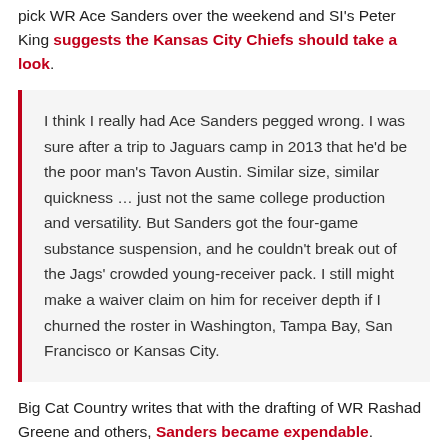pick WR Ace Sanders over the weekend and SI's Peter King suggests the Kansas City Chiefs should take a look.
I think I really had Ace Sanders pegged wrong. I was sure after a trip to Jaguars camp in 2013 that he'd be the poor man's Tavon Austin. Similar size, similar quickness … just not the same college production and versatility. But Sanders got the four-game substance suspension, and he couldn't break out of the Jags' crowded young-receiver pack. I still might make a waiver claim on him for receiver depth if I churned the roster in Washington, Tampa Bay, San Francisco or Kansas City.
Big Cat Country writes that with the drafting of WR Rashad Greene and others, Sanders became expendable. Sanders impressed his rookie year with